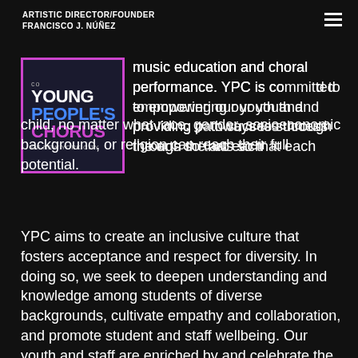ARTISTIC DIRECTOR/FOUNDER
FRANCISCO J. NÚÑEZ
[Figure (logo): Young People's Chorus of New York City logo with pink/purple border on dark background]
music education and choral performance. YPC is committed to empowering our youth and providing pathways to success through the arts so that each child, no matter what race, gender, socioeconomic background, or religion can reach their full potential.
YPC aims to create an inclusive culture that fosters acceptance and respect for diversity. In doing so, we seek to deepen understanding and knowledge among students of diverse backgrounds, cultivate empathy and collaboration, and promote student and staff wellbeing. Our youth and staff are enriched by and celebrate the diversity of our whole YPC community.
YPC therefore rejects all forms of racist behavior and is committed to the elimination of discrimination (including direct and indirect racism) in our organization, music curriculum, programs, activities